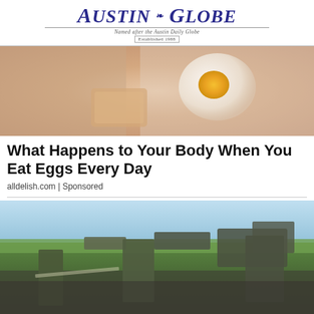Austin Globe — Named after the Austin Daily Globe — Established 1988
[Figure (photo): Close-up photo of a hand holding a cracked egg with yolk visible]
What Happens to Your Body When You Eat Eggs Every Day
alldelish.com | Sponsored
[Figure (photo): Soldiers in military camouflage gear standing near military vehicles on a road]